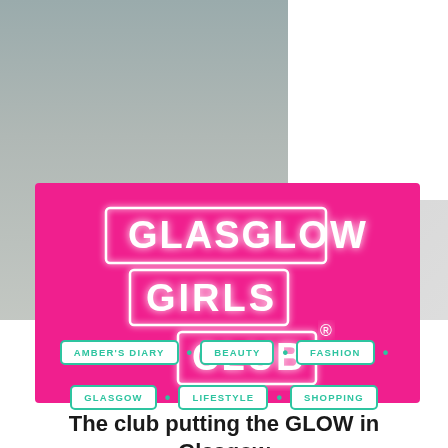[Figure (photo): Blurred background photo of a person on the left side, with a white area on the top right]
[Figure (logo): Pink (magenta) rectangular banner featuring the neon-style glowing white text logo: GLASGLOW GIRLS CLUB with a registered trademark symbol. The text is styled to look like neon signs with glowing white outlines on bright pink background.]
AMBER'S DIARY
BEAUTY
FASHION
GLASGOW
LIFESTYLE
SHOPPING
The club putting the GLOW in Glasgow